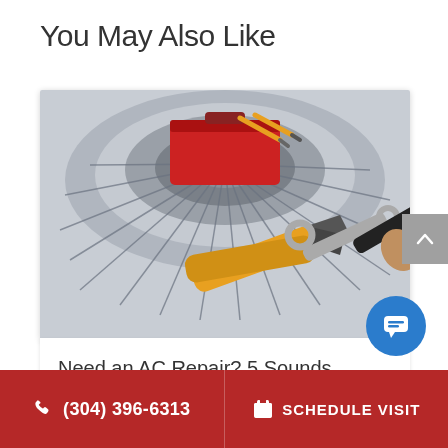You May Also Like
[Figure (photo): AC unit repair image with tools — red toolbox and yellow-handled pliers and wrench on top of an air conditioner unit with fan blades visible]
Need an AC Repair? 5 Sounds
(304) 396-6313
SCHEDULE VISIT